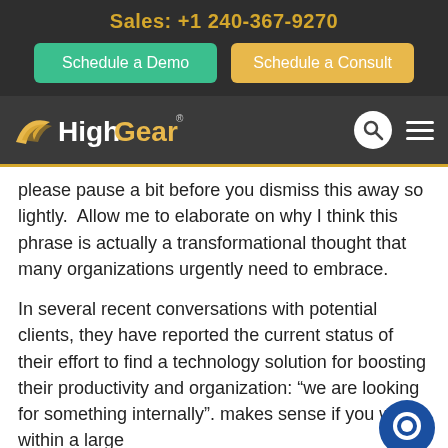Sales: +1 240-367-9270
Schedule a Demo
Schedule a Consult
[Figure (logo): HighGear logo with wing/arrow icon in gold and white text on dark background, search icon and hamburger menu]
please pause a bit before you dismiss this away so lightly.  Allow me to elaborate on why I think this phrase is actually a transformational thought that many organizations urgently need to embrace.
In several recent conversations with potential clients, they have reported the current status of their effort to find a technology solution for boosting their productivity and organization: "we are looking for something internally". makes sense if you work within a large